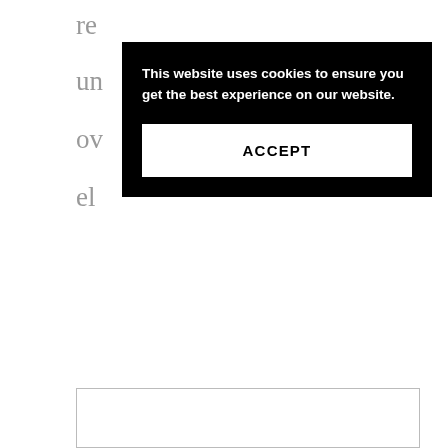re... un... ov...e el...
[Figure (screenshot): Cookie consent overlay on black background with bold white text reading 'This website uses cookies to ensure you get the best experience on our website.' and a white ACCEPT button below.]
That meant learning a lot of financial education, how to budget, how to save money. You’re not taught this stuff in school. That’s when I realised I had to “grow up” about my finances.
[Figure (other): Partial outline box at bottom of page]